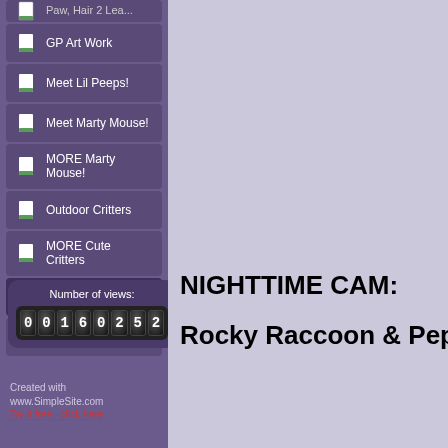GP Art Work
Meet Lil Peeps!
Meet Marty Mouse!
MORE Marty Mouse!
Outdoor Critters
MORE Cute Critters
Wildlife Night Cam
Links & Healthcare
Number of views: 00160252
Created with www.SimpleSite.com Try it free - click here
NIGHTTIME CAM:
Rocky Raccoon & Pepe LePew